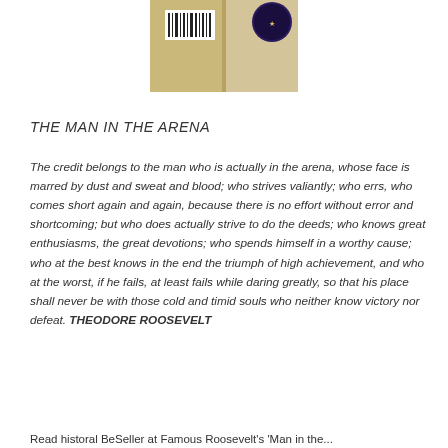[Figure (photo): Photo of book covers showing the backs and spines of two books against a white background]
THE MAN IN THE ARENA
The credit belongs to the man who is actually in the arena, whose face is marred by dust and sweat and blood; who strives valiantly; who errs, who comes short again and again, because there is no effort without error and shortcoming; but who does actually strive to do the deeds; who knows great enthusiasms, the great devotions; who spends himself in a worthy cause; who at the best knows in the end the triumph of high achievement, and who at the worst, if he fails, at least fails while daring greatly, so that his place shall never be with those cold and timid souls who neither know victory nor defeat. THEODORE ROOSEVELT
Readhistoral BeSeller at Famous Roosevelt's 'Man in the...